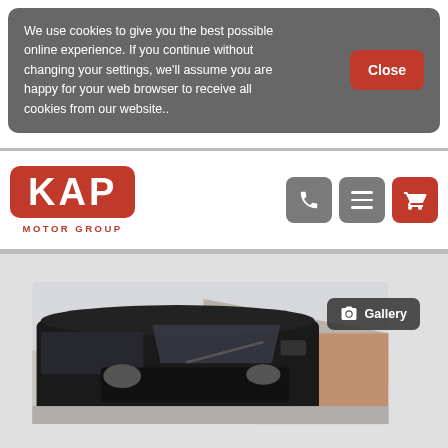We use cookies to give you the best possible online experience. If you continue without changing your settings, we'll assume you are happy for your web browser to receive all cookies from our website..
[Figure (screenshot): KAP Motor Group website header with logo (red rounded rectangle with white KAP text, red MOTOR GROUP subtitle), three icon buttons (phone, menu, shopping cart), and cookie consent banner overlay]
[Figure (photo): Black Ford Transit Custom van photographed from front-left angle in a car park with brick buildings in background, with a Gallery button overlay in top right]